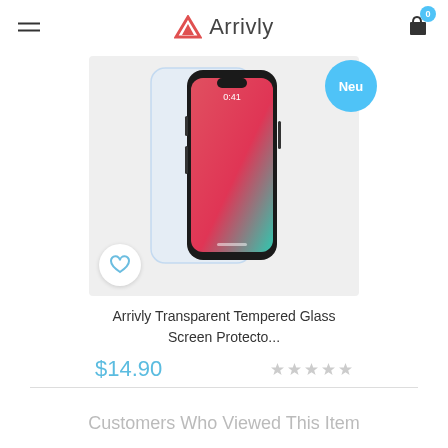Arrivly
[Figure (photo): Arrivly transparent tempered glass screen protector shown next to an iPhone with a colorful wallpaper. A 'Neu' badge appears in top right. A heart/wishlist icon appears in bottom left.]
Arrivly Transparent Tempered Glass Screen Protecto...
$14.90
Customers Who Viewed This Item